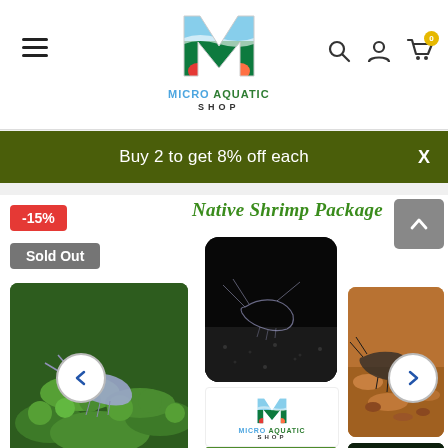Micro Aquatic Shop
Buy 2 to get 8% off each
[Figure (screenshot): Product page for Native Shrimp Package with -15% discount badge, Sold Out label, and multiple shrimp photos in a carousel grid]
Native Shrimp Package
-15%
Sold Out